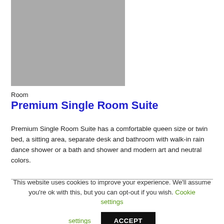[Figure (photo): Gray placeholder image of a hotel room]
Room
Premium Single Room Suite
Premium Single Room Suite has a comfortable queen size or twin bed, a sitting area, separate desk and bathroom with walk-in rain dance shower or a bath and shower and modern art and neutral colors.
This website uses cookies to improve your experience. We'll assume you're ok with this, but you can opt-out if you wish. Cookie settings ACCEPT